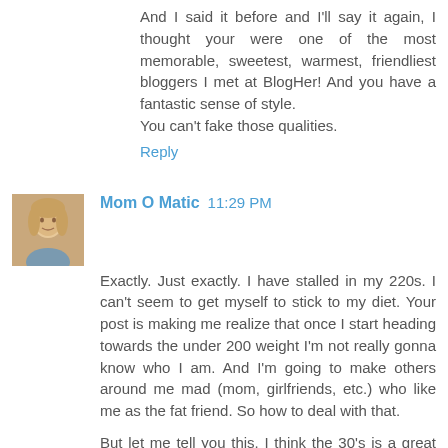And I said it before and I'll say it again, I thought your were one of the most memorable, sweetest, warmest, friendliest bloggers I met at BlogHer! And you have a fantastic sense of style.
You can't fake those qualities.
Reply
Mom O Matic  11:29 PM
Exactly. Just exactly. I have stalled in my 220s. I can't seem to get myself to stick to my diet. Your post is making me realize that once I start heading towards the under 200 weight I'm not really gonna know who I am. And I'm going to make others around me mad (mom, girlfriends, etc.) who like me as the fat friend. So how to deal with that.
But let me tell you this. I think the 30's is a great time to lose because we know more than ever what's important.
Reply
Mom O Matic  11:33 PM